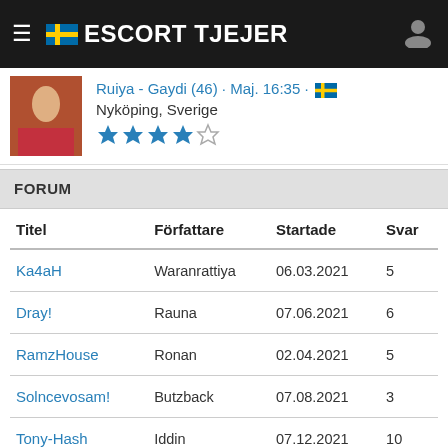ESCORT TJEJER
Ruiya - Gaydi (46) · Maj. 16:35 · 🇸🇪
Nyköping, Sverige
★★★★☆
FORUM
| Titel | Författare | Startade | Svar |
| --- | --- | --- | --- |
| Ka4aH | Waranrattiya | 06.03.2021 | 5 |
| Dray! | Rauna | 07.06.2021 | 6 |
| RamzHouse | Ronan | 02.04.2021 | 5 |
| Solncevosam! | Butzback | 07.08.2021 | 3 |
| Tony-Hash | Iddin | 07.12.2021 | 10 |
BLOGS